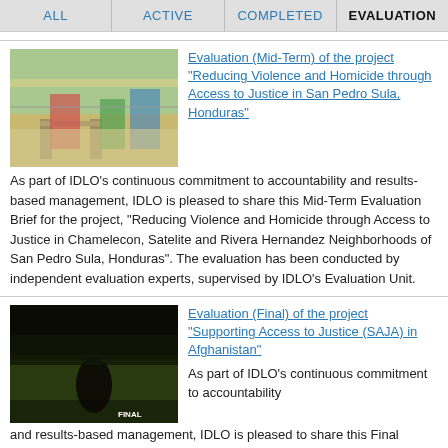ALL | ACTIVE | COMPLETED | EVALUATION
[Figure (photo): Outdoor playground area with colorful painted walls, swing set, and bicycles against a wall with barbed wire and green shrubs]
Evaluation (Mid-Term) of the project "Reducing Violence and Homicide through Access to Justice in San Pedro Sula, Honduras"
As part of IDLO's continuous commitment to accountability and results-based management, IDLO is pleased to share this Mid-Term Evaluation Brief for the project, "Reducing Violence and Homicide through Access to Justice in Chamelecon, Satelite and Rivera Hernandez Neighborhoods of San Pedro Sula, Honduras". The evaluation has been conducted by independent evaluation experts, supervised by IDLO's Evaluation Unit.
[Figure (photo): Dark outdoor field scene with a silhouette of a person/animal in tall grass, with 'FINAL' label overlay]
Evaluation (Final) of the project "Supporting Access to Justice (SAJA) in Afghanistan"
As part of IDLO's continuous commitment to accountability and results-based management, IDLO is pleased to share this Final